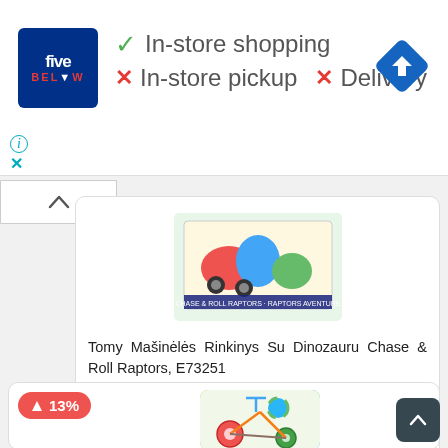[Figure (screenshot): Five Below store advertisement banner showing logo, In-store shopping checkmark, In-store pickup X, Delivery X, and navigation arrow icon. Small info (i) and close (X) icons at bottom left.]
[Figure (screenshot): Up chevron (^) navigation button on white background]
[Figure (photo): Product image of Tomy Dinosaur Chase & Roll Raptors toy set in colorful box]
Tomy Mašinėlės Rinkinys Su Dinozauru Chase & Roll Raptors, E73251
Kaina  12.59 €
[Figure (screenshot): Heart/wishlist button icon]
[Figure (screenshot): Second product card with 13% price increase badge (red arrow up) and partial tricycle toy image]
[Figure (screenshot): Scroll to top button (dark rounded square with up chevron)]